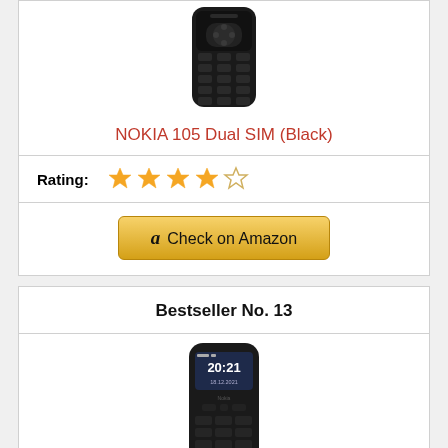[Figure (photo): Top portion of a Nokia 105 black feature phone showing the upper half of the device with keypad]
NOKIA 105 Dual SIM (Black)
Rating: ★★★★☆
[Figure (other): Check on Amazon button with Amazon logo]
Bestseller No. 13
[Figure (photo): Nokia feature phone showing screen with 20:21 time and 18.12.2021 date, with keypad visible below]